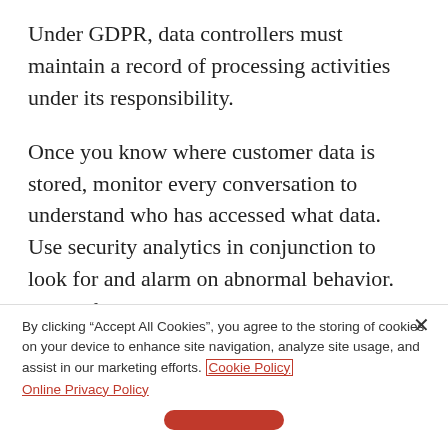Under GDPR, data controllers must maintain a record of processing activities under its responsibility.
Once you know where customer data is stored, monitor every conversation to understand who has accessed what data. Use security analytics in conjunction to look for and alarm on abnormal behavior. Then, if and when you encounter an
By clicking “Accept All Cookies”, you agree to the storing of cookies on your device to enhance site navigation, analyze site usage, and assist in our marketing efforts. Cookie Policy
Online Privacy Policy